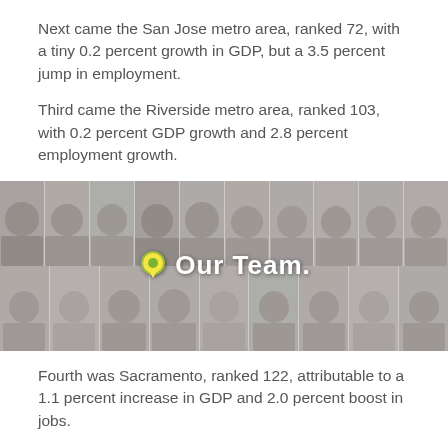Next came the San Jose metro area, ranked 72, with a tiny 0.2 percent growth in GDP, but a 3.5 percent jump in employment.
Third came the Riverside metro area, ranked 103, with 0.2 percent GDP growth and 2.8 percent employment growth.
[Figure (photo): Group photo of a team of approximately 20 professionals arranged in two rows, with overlaid text 'Our Team.' and a location pin icon in yellow and green.]
Fourth was Sacramento, ranked 122, attributable to a 1.1 percent increase in GDP and 2.0 percent boost in jobs.
Surprisingly, the San Francisco metro area came in fifth in California and 125th in the world.  Another surprise was that San Francisco had a 0.5 percent